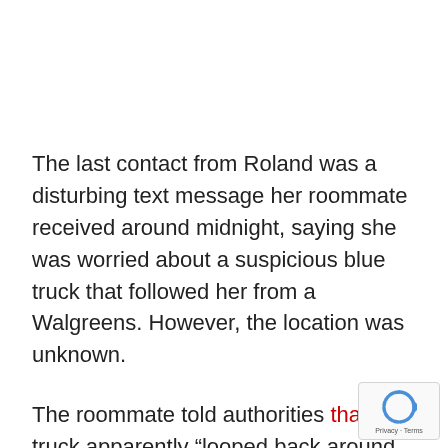The last contact from Roland was a disturbing text message her roommate received around midnight, saying she was worried about a suspicious blue truck that followed her from a Walgreens. However, the location was unknown.
The roommate told authorities that the truck apparently “looped back around and parked behind her and Roland got out of her car and the truck took off.” The roommate also added that Roland’s